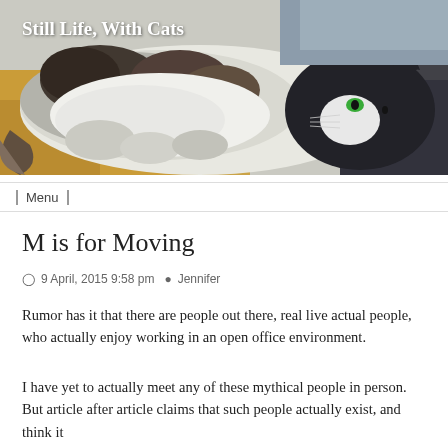[Figure (photo): Photo of two cats lying together on a bed — a large fluffy black and white long-haired cat and a smaller black and white short-haired cat. Blog header image with title overlay.]
Still Life, With Cats
Menu
M is for Moving
9 April, 2015 9:58 pm  Jennifer
Rumor has it that there are people out there, real live actual people, who actually enjoy working in an open office environment.
I have yet to actually meet any of these mythical people in person. But article after article claims that such people actually exist, and think it